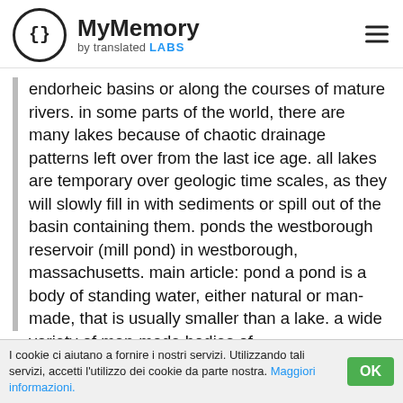MyMemory by translated LABS
endorheic basins or along the courses of mature rivers. in some parts of the world, there are many lakes because of chaotic drainage patterns left over from the last ice age. all lakes are temporary over geologic time scales, as they will slowly fill in with sediments or spill out of the basin containing them. ponds the westborough reservoir (mill pond) in westborough, massachusetts. main article: pond a pond is a body of standing water, either natural or man-made, that is usually smaller than a lake. a wide variety of man-made bodies of
I cookie ci aiutano a fornire i nostri servizi. Utilizzando tali servizi, accetti l'utilizzo dei cookie da parte nostra. Maggiori informazioni.